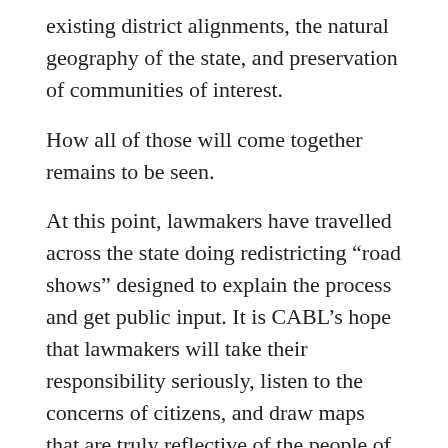existing district alignments, the natural geography of the state, and preservation of communities of interest.
How all of those will come together remains to be seen.
At this point, lawmakers have travelled across the state doing redistricting “road shows” designed to explain the process and get public input. It is CABL’s hope that lawmakers will take their responsibility seriously, listen to the concerns of citizens, and draw maps that are truly reflective of the people of the state. As the saying goes, “citizens should pick their representatives rather than the politicians picking their voters.”
The truth of the matter, however, is that redistricting is an inherently political process, the political and partisan nature of which has essentially been sanctioned by the U.S. Supreme Court. Human nature tells us that politicians, just like everyone else, tend to favor their